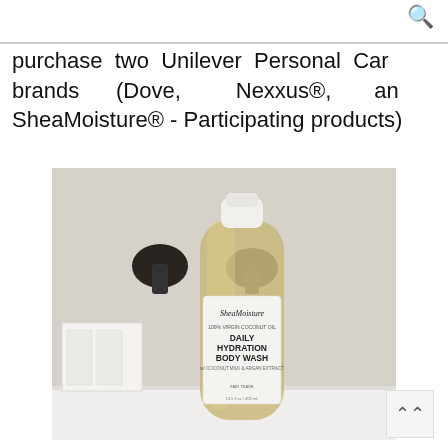purchase two Unilever Personal Care brands (Dove, Nexxus®, and SheaMoisture® - Participating products)
[Figure (photo): SheaMoisture 100% Virgin Coconut Oil Daily Hydration Body Wash bottle on a white bathroom shelf with dark faucet handles in the background]